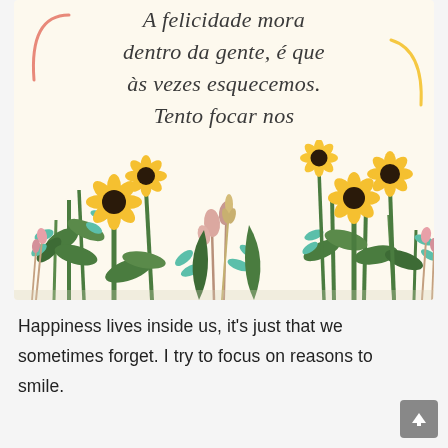[Figure (illustration): Illustrated greeting card with cream/yellow background, handwritten-style Portuguese quote about happiness, decorated with yellow sunflowers, green leaves, teal foliage, and pink wildflowers arranged along the bottom border. Decorative curves in salmon and yellow on top corners.]
Happiness lives inside us, it's just that we sometimes forget. I try to focus on reasons to smile.